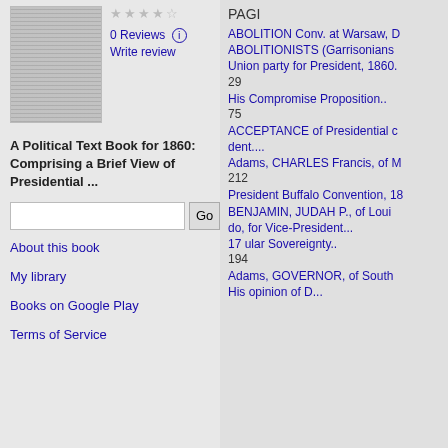[Figure (illustration): Thumbnail image of a book/newspaper page]
0 Reviews
Write review
A Political Text Book for 1860: Comprising a Brief View of Presidential ...
About this book
My library
Books on Google Play
Terms of Service
PAGI
ABOLITION Conv. at Warsaw, D
ABOLITIONISTS (Garrisonians
Union party for President, 1860.
29
His Compromise Proposition..
75
ACCEPTANCE of Presidential c dent....
Adams, CHARLES Francis, of M
212
President Buffalo Convention, 18
BENJAMIN, JUDAH P., of Loui
do, for Vice-President...
17 ular Sovereignty..
194
Adams, GOVERNOR, of South
His opinion of D...